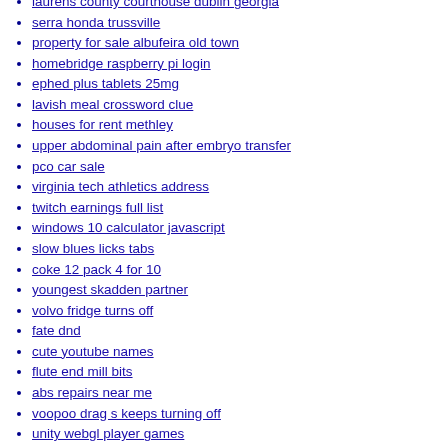laurens county courthouse dublin georgia
serra honda trussville
property for sale albufeira old town
homebridge raspberry pi login
ephed plus tablets 25mg
lavish meal crossword clue
houses for rent methley
upper abdominal pain after embryo transfer
pco car sale
virginia tech athletics address
twitch earnings full list
windows 10 calculator javascript
slow blues licks tabs
coke 12 pack 4 for 10
youngest skadden partner
volvo fridge turns off
fate dnd
cute youtube names
flute end mill bits
abs repairs near me
voopoo drag s keeps turning off
unity webgl player games
hallmark gold crown login
wakefield housing benefit
gm factory navigation system for sale